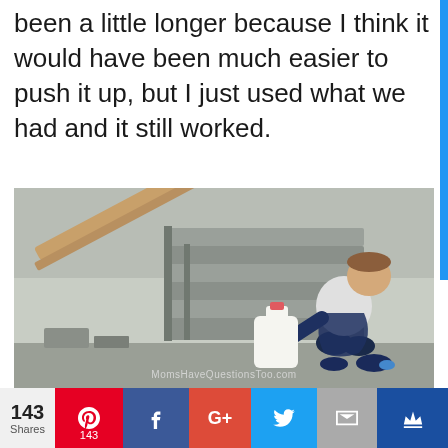been a little longer because I think it would have been much easier to push it up, but I just used what we had and it still worked.
[Figure (photo): A young boy crouching on outdoor stairs, pushing a large milk jug up a wooden plank ramp leaning against the steps. Watermark reads MomsHaveQuestionsToo.com]
143 Shares | Pinterest 143 | Facebook | G+ | Twitter | Email | Crown